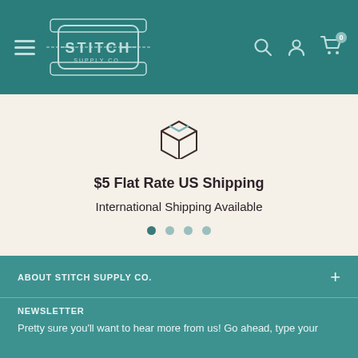Stitch Supply Co. — navigation header with hamburger menu, logo, search, account, and cart icons
[Figure (illustration): Box/package icon (outline style) above shipping promo text]
$5 Flat Rate US Shipping
International Shipping Available
ABOUT STITCH SUPPLY CO.
Q & A
NEWSLETTER
Pretty sure you'll want to hear more from us! Go ahead, type your